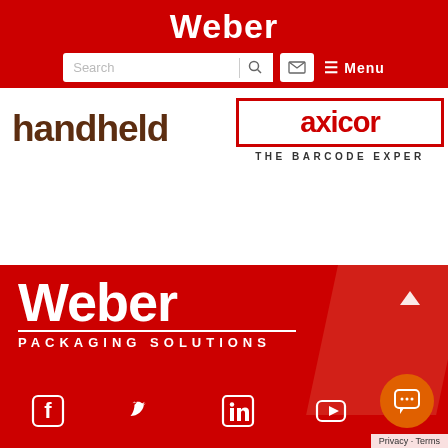Weber
[Figure (logo): Weber red header bar with search box, mail icon and menu]
[Figure (logo): handheld logo in dark brown bold text]
[Figure (logo): axicon THE BARCODE EXPERT logo with red border]
[Figure (logo): Weber Packaging Solutions white text on red background]
[Figure (infographic): Social media icons: Facebook, Twitter, LinkedIn, YouTube on red footer]
Privacy · Terms